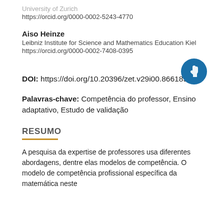University of Zurich
https://orcid.org/0000-0002-5243-4770
Aiso Heinze
Leibniz Institute for Science and Mathematics Education Kiel
https://orcid.org/0000-0002-7408-0395
DOI: https://doi.org/10.20396/zet.v29i00.8661896
Palavras-chave: Competência do professor, Ensino adaptativo, Estudo de validação
RESUMO
A pesquisa da expertise de professores usa diferentes abordagens, dentre elas modelos de competência. O modelo de competência profissional específica da matemática neste